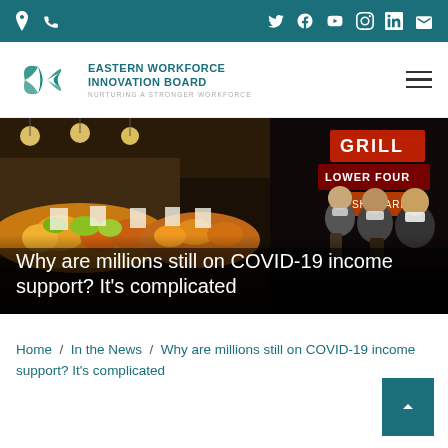Eastern Workforce Innovation Board — top navigation bar with location, phone, social media icons
[Figure (logo): Eastern Workforce Innovation Board logo with teal leaf/butterfly symbol and organization name]
[Figure (photo): Photo of a busy outdoor market with fruit and produce displays; people in the background wearing masks; neon signs including 'GRILL' and 'LOWER FOUR' visible on right side]
Why are millions still on COVID-19 income support? It's complicated
Home / In the News / Why are millions still on COVID-19 income support? It's complicated